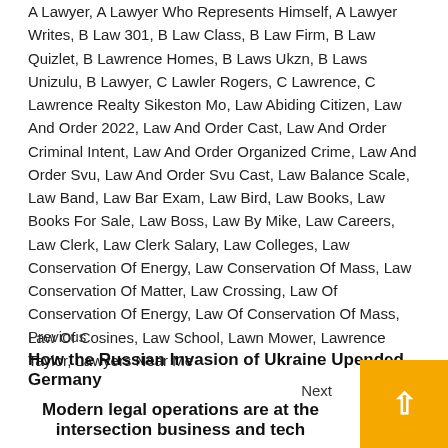A Lawyer, A Lawyer Who Represents Himself, A Lawyer Writes, B Law 301, B Law Class, B Law Firm, B Law Quizlet, B Lawrence Homes, B Laws Ukzn, B Laws Unizulu, B Lawyer, C Lawler Rogers, C Lawrence, C Lawrence Realty Sikeston Mo, Law Abiding Citizen, Law And Order 2022, Law And Order Cast, Law And Order Criminal Intent, Law And Order Organized Crime, Law And Order Svu, Law And Order Svu Cast, Law Balance Scale, Law Band, Law Bar Exam, Law Bird, Law Books, Law Books For Sale, Law Boss, Law By Mike, Law Careers, Law Clerk, Law Clerk Salary, Law Colleges, Law Conservation Of Energy, Law Conservation Of Mass, Law Conservation Of Matter, Law Crossing, Law Of Conservation Of Energy, Law Of Conservation Of Mass, Law Of Cosines, Law School, Lawn Mower, Lawrence Taylor, Lawyers Near Me
Previous
How the Russian Invasion of Ukraine Upended Germany
Next
Modern legal operations are at the intersection business and tech